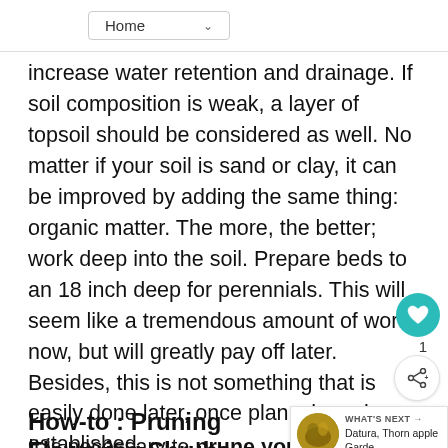Home
increase water retention and drainage. If soil composition is weak, a layer of topsoil should be considered as well. No matter if your soil is sand or clay, it can be improved by adding the same thing: organic matter. The more, the better; work deep into the soil. Prepare beds to an 18 inch deep for perennials. This will seem like a tremendous amount of work now, but will greatly pay off later. Besides, this is not something that is easily done later, once plants have been established.
How-to : Pruning Flowering Shrubs
It is necessary to prune your deciduous